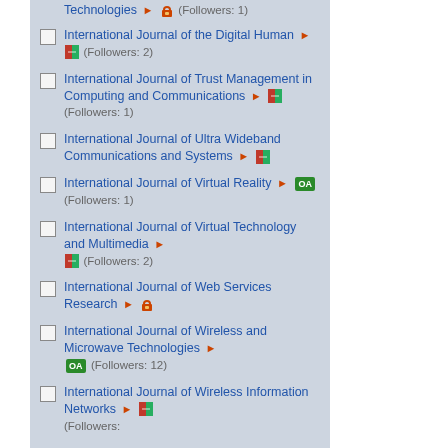Technologies ► 🔒 (Followers: 1)
International Journal of the Digital Human ► [flag] (Followers: 2)
International Journal of Trust Management in Computing and Communications ► [flag] (Followers: 1)
International Journal of Ultra Wideband Communications and Systems ► [flag]
International Journal of Virtual Reality ► OA (Followers: 1)
International Journal of Virtual Technology and Multimedia ► [flag] (Followers: 2)
International Journal of Web Services Research ► 🔒
International Journal of Wireless and Microwave Technologies ► OA (Followers: 12)
International Journal of Wireless Information Networks ► [flag] (Followers: ?)